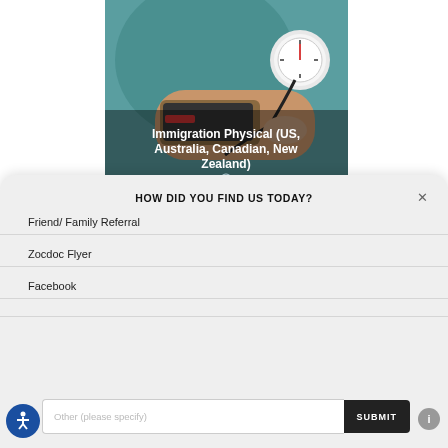[Figure (photo): A healthcare provider taking blood pressure of a patient, teal/green scrubs visible, blood pressure cuff and gauge shown]
Immigration Physical (US, Australia, Canadian, New Zealand)
more info ❯
HOW DID YOU FIND US TODAY?
Friend/ Family Referral
Zocdoc Flyer
Facebook
Other (please specify)
SUBMIT